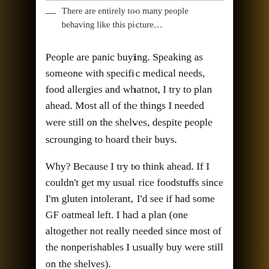— There are entirely too many people behaving like this picture…
People are panic buying. Speaking as someone with specific medical needs, food allergies and whatnot, I try to plan ahead. Most all of the things I needed were still on the shelves, despite people scrounging to hoard their buys.
Why? Because I try to think ahead. If I couldn't get my usual rice foodstuffs since I'm gluten intolerant, I'd see if had some GF oatmeal left. I had a plan (one altogether not really needed since most of the nonperishables I usually buy were still on the shelves).
For goodness sake even, most of the fresh vegetables sat untouched. And despite most people's concerns, they spoil rather slowly depending on what you buy. An apple can last a week or two,